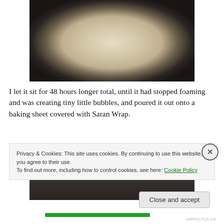[Figure (photo): Close-up photo of a pale beige/cream colored round fermented mixture in a dark round pan or bowl, viewed from above. The surface has a bumpy, foamy texture.]
I let it sit for 48 hours longer total, until it had stopped foaming and was creating tiny little bubbles, and poured it out onto a baking sheet covered with Saran Wrap.
[Figure (photo): Partially visible photo of a dark metallic surface, likely a baking sheet, cropped by the cookie consent banner overlay.]
Privacy & Cookies: This site uses cookies. By continuing to use this website, you agree to their use.
To find out more, including how to control cookies, see here: Cookie Policy
Close and accept